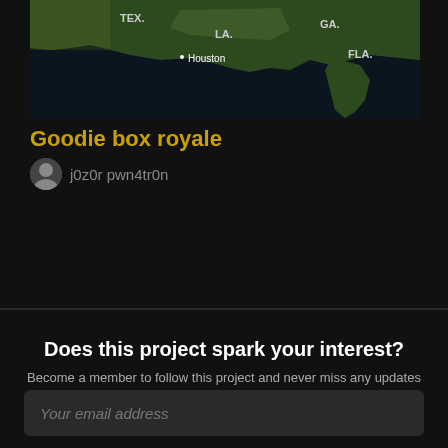[Figure (map): Satellite/dark map showing southeastern United States with labels TEX., LA., Houston, GA., FLA.]
Goodie box royale
j0z0r pwn4tr0n
Does this project spark your interest?
Become a member to follow this project and never miss any updates
Your email address